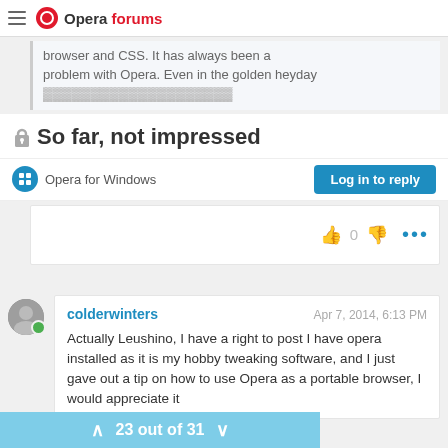Opera forums
browser and CSS. It has always been a problem with Opera. Even in the golden heyday
So far, not impressed
Opera for Windows
Log in to reply
0
colderwinters  Apr 7, 2014, 6:13 PM
Actually Leushino, I have a right to post I have opera installed as it is my hobby tweaking software, and I just gave out a tip on how to use Opera as a portable browser, I would appreciate it
23 out of 31